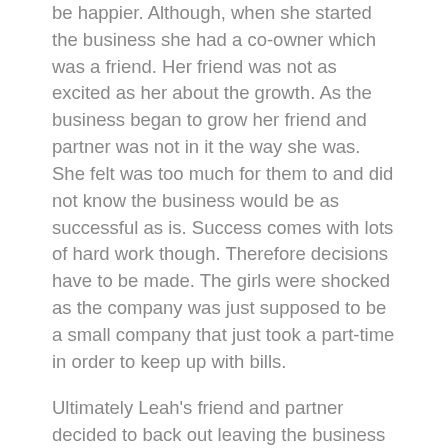be happier. Although, when she started the business she had a co-owner which was a friend. Her friend was not as excited as her about the growth. As the business began to grow her friend and partner was not in it the way she was. She felt was too much for them to and did not know the business would be as successful as is. Success comes with lots of hard work though. Therefore decisions have to be made. The girls were shocked as the company was just supposed to be a small company that just took a part-time in order to keep up with bills.
Ultimately Leah's friend and partner decided to back out leaving the business all to Leah. Leah was not going to give up on 918 Design Company. She was invested and enjoyed watching it grow. Becoming more and more excited. Leah was now a sold business out which brings a lot of stress and pressure but she didn't mind. 1999 two years after starting the business was expanding rapidly and